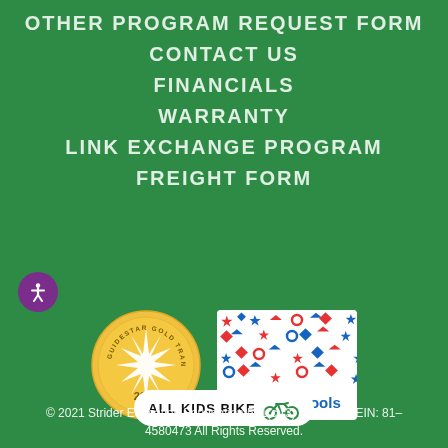OTHER PROGRAM REQUEST FORM
CONTACT US
FINANCIALS
WARRANTY
LINK EXCHANGE PROGRAM
FREIGHT FORM
[Figure (logo): GuideStar Gold Transparency 2021 seal badge]
[Figure (logo): Active Schools logo with colorful shapes]
[Figure (logo): All Kids Bike logo with bicycle icon in white pill shape]
© 2021 Strider Education Foundation 501(c)(3) nonprofit | EIN: 81–4580473 All Rights Reserved.